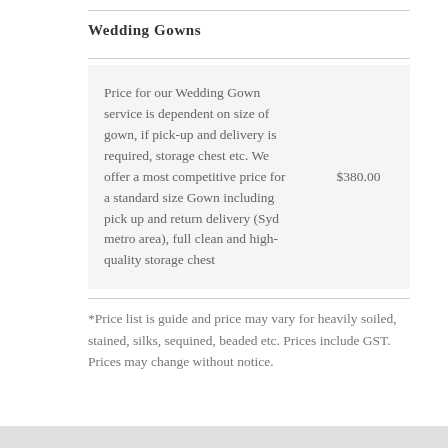Wedding Gowns
| Description | Price |
| --- | --- |
| Price for our Wedding Gown service is dependent on size of gown, if pick-up and delivery is required, storage chest etc. We offer a most competitive price for a standard size Gown including pick up and return delivery (Syd metro area), full clean and high-quality storage chest | $380.00 |
*Price list is guide and price may vary for heavily soiled, stained, silks, sequined, beaded etc. Prices include GST. Prices may change without notice.